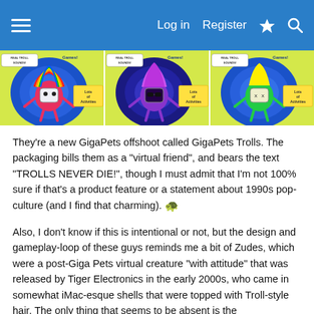Log in  Register
[Figure (photo): Three GigaPets Trolls virtual pet toy packages side by side: pink/red troll, purple troll, and green troll, each with 'Real Troll Sounds', 'Lots of Activities', 'Trolls Never Die' packaging with colorful cartoon troll character holding a tamagotchi-style device.]
They're a new GigaPets offshoot called GigaPets Trolls. The packaging bills them as a "virtual friend", and bears the text "TROLLS NEVER DIE!", though I must admit that I'm not 100% sure if that's a product feature or a statement about 1990s pop-culture (and I find that charming). 🐢
Also, I don't know if this is intentional or not, but the design and gameplay-loop of these guys reminds me a bit of Zudes, which were a post-Giga Pets virtual creature "with attitude" that was released by Tiger Electronics in the early 2000s, who came in somewhat iMac-esque shells that were topped with Troll-style hair. The only thing that seems to be absent is the